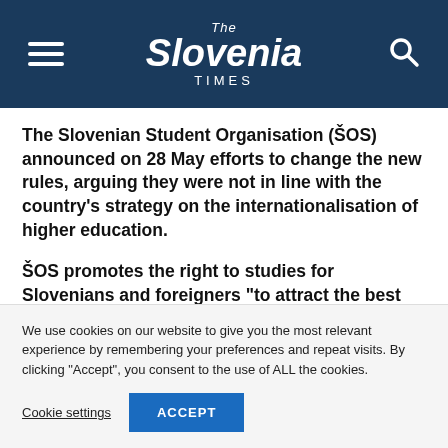The Slovenia Times
The Slovenian Student Organisation (ŠOS) announced on 28 May efforts to change the new rules, arguing they were not in line with the country's strategy on the internationalisation of higher education.
ŠOS promotes the right to studies for Slovenians and foreigners “to attract the best students who will improve Slovenian higher education and hopefully the
We use cookies on our website to give you the most relevant experience by remembering your preferences and repeat visits. By clicking “Accept”, you consent to the use of ALL the cookies.
Cookie settings
ACCEPT